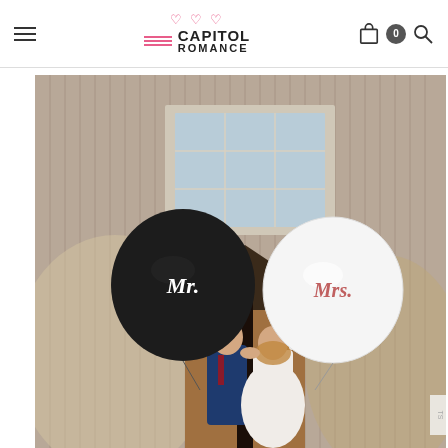Capitol Romance
[Figure (photo): Wedding couple kissing in front of a barn, holding large Mr. and Mrs. balloons. The groom wears a blue suit, the bride wears a white dress. A large black balloon reads 'Mr.' and a large white balloon reads 'Mrs.']